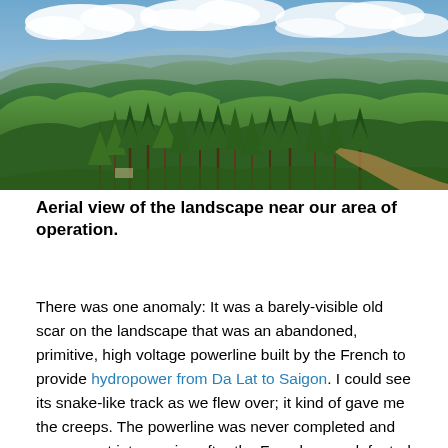[Figure (photo): Aerial panoramic view of dense green forested hills and mountains with a partly cloudy blue sky. Pine trees are visible in the foreground and middle ground, with rolling green hills extending to the horizon.]
Aerial view of the landscape near our area of operation.
There was one anomaly: It was a barely-visible old scar on the landscape that was an abandoned, primitive, high voltage powerline built by the French to provide hydropower from Da Lat to Saigon. I could see its snake-like track as we flew over; it kind of gave me the creeps. The powerline was never completed and never went into service after the French were defeated at the battle of